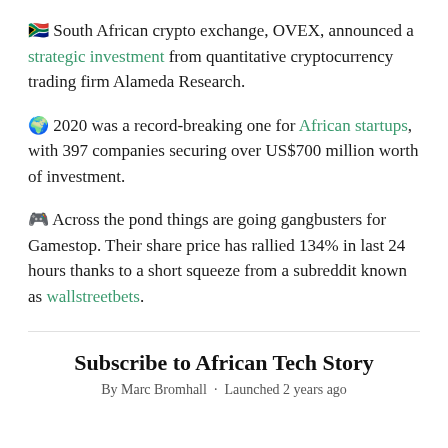🇿🇦 South African crypto exchange, OVEX, announced a strategic investment from quantitative cryptocurrency trading firm Alameda Research.
🌍 2020 was a record-breaking one for African startups, with 397 companies securing over US$700 million worth of investment.
🎮 Across the pond things are going gangbusters for Gamestop. Their share price has rallied 134% in last 24 hours thanks to a short squeeze from a subreddit known as wallstreetbets.
Subscribe to African Tech Story
By Marc Bromhall · Launched 2 years ago
(cut off bottom text)